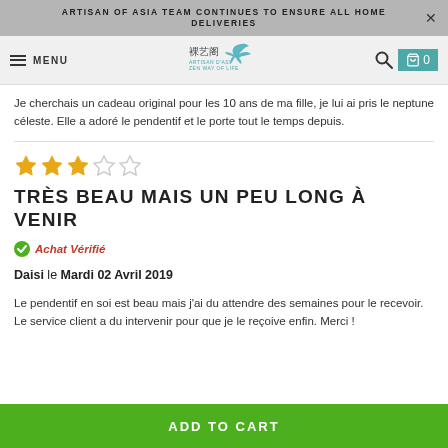ARTISAN OF ASIA TEAM CONTINUES TO ENSURE ALL HOME DELIVERIES
Je cherchais un cadeau original pour les 10 ans de ma fille, je lui ai pris le neptune céleste. Elle a adoré le pendentif et le porte tout le temps depuis.
TRÈS BEAU MAIS UN PEU LONG À VENIR
Achat Vérifié
Daisi le Mardi 02 Avril 2019
Le pendentif en soi est beau mais j'ai du attendre des semaines pour le recevoir. Le service client a du intervenir pour que je le reçoive enfin. Merci !
ADD TO CART